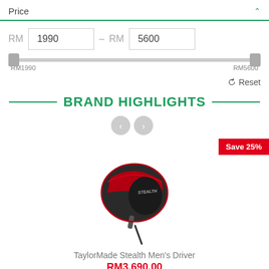Price
RM 1990 – RM 5600
RM1990   RM5600
Reset
BRAND HIGHLIGHTS
Save 25%
[Figure (photo): TaylorMade Stealth Men's Driver golf club head, black and red with STEALTH branding]
TaylorMade Stealth Men's Driver
RM3,690.00